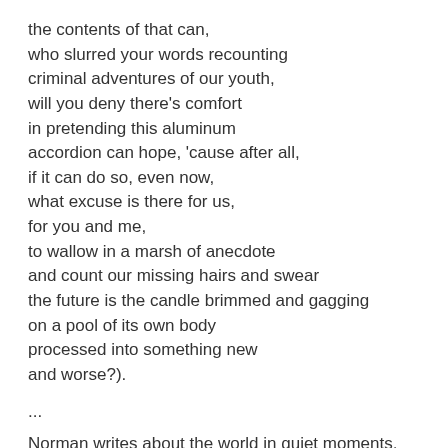the contents of that can,
who slurred your words recounting
criminal adventures of our youth,
will you deny there's comfort
in pretending this aluminum
accordion can hope, 'cause after all,
if it can do so, even now,
what excuse is there for us,
for you and me,
to wallow in a marsh of anecdote
and count our missing hairs and swear
the future is the candle brimmed and gagging
on a pool of its own body
processed into something new
and worse?).
...
Norman writes about the world in quiet moments, opens them up to us like a wise elder, giving meaning to lore.
The tenure of Norman's Water Damage is so consistent, the